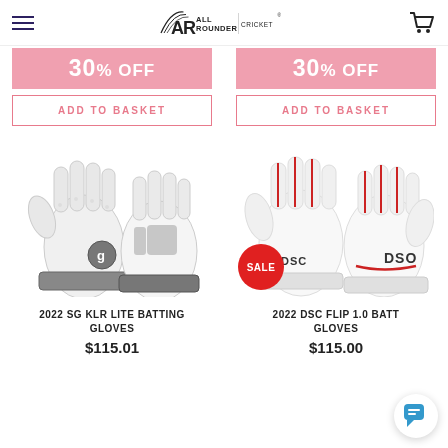All Rounder | Cricket
30% OFF
30% OFF
ADD TO BASKET
ADD TO BASKET
[Figure (photo): SG KLR Lite batting gloves, white and grey, pair shown]
[Figure (photo): DSC Flip 1.0 batting gloves, white and red, pair shown with red SALE badge]
2022 SG KLR LITE BATTING GLOVES
2022 DSC FLIP 1.0 BATTING GLOVES
$115.01
$115.00